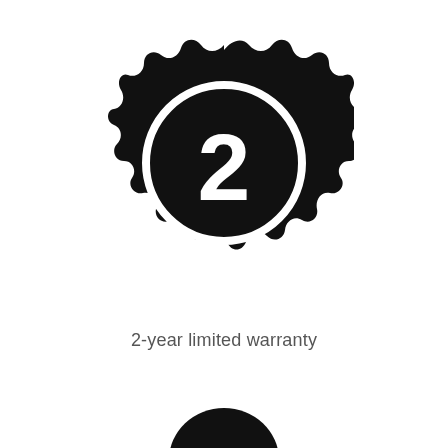[Figure (illustration): Black warranty badge/seal icon with scalloped/wavy edge, containing a white circle outline and the number 2 in white inside]
2-year limited warranty
[Figure (illustration): Partial black semicircle icon visible at bottom of page (cropped)]